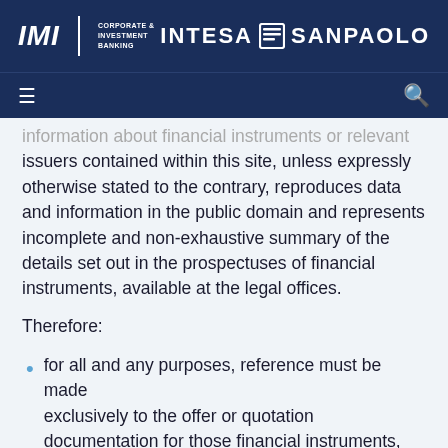IMI Corporate & Investment Banking | INTESA SANPAOLO
information about financial instruments or relevant issuers contained within this site, unless expressly otherwise stated to the contrary, reproduces data and information in the public domain and represents incomplete and non-exhaustive summary of the details set out in the prospectuses of financial instruments, available at the legal offices.
Therefore:
for all and any purposes, reference must be made exclusively to the offer or quotation documentation for those financial instruments,